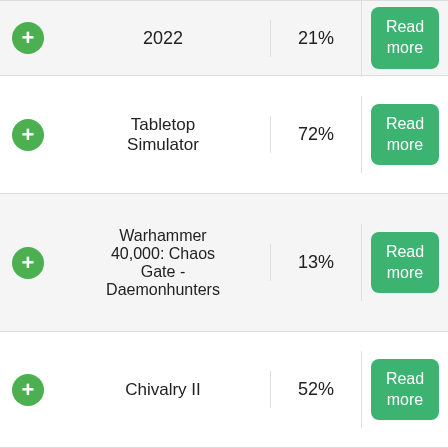|  | Game | Rating | Action |
| --- | --- | --- | --- |
| + | 2022 | 21% | Read more |
| + | Tabletop Simulator | 72% | Read more |
| + | Warhammer 40,000: Chaos Gate - Daemonhunters | 13% | Read more |
| + | Chivalry II | 52% | Read more |
| + | Northgard | 56% | Read more |